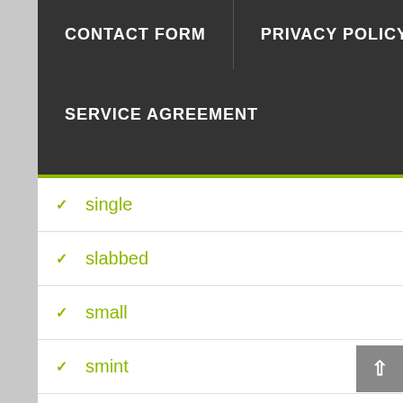CONTACT FORM | PRIVACY POLICY | SERVICE AGREEMENT
single
slabbed
small
smint
soma
sp70
span
spare
special
stack
stacking
star